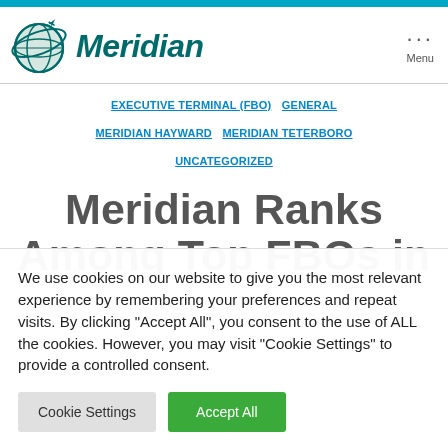[Figure (logo): Meridian logo with globe and airplane icon, italic bold teal text reading 'Meridian']
Menu
EXECUTIVE TERMINAL (FBO)  GENERAL  MERIDIAN HAYWARD  MERIDIAN TETERBORO  UNCATEGORIZED
Meridian Ranks Among Top FBOs in
We use cookies on our website to give you the most relevant experience by remembering your preferences and repeat visits. By clicking "Accept All", you consent to the use of ALL the cookies. However, you may visit "Cookie Settings" to provide a controlled consent.
Cookie Settings  Accept All